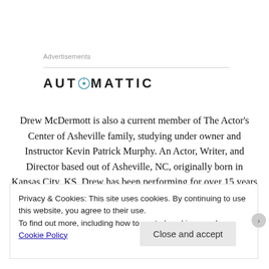Advertisements
[Figure (logo): Automattic logo with stylized compass O in the word AUTOMATTIC]
Drew McDermott is also a current member of The Actor's Center of Asheville family, studying under owner and Instructor Kevin Patrick Murphy. An Actor, Writer, and Director based out of Asheville, NC, originally born in Kansas City, KS, Drew has been performing for over 15 years in sketch comedy, theatre, commercial & film work. He is currently
Privacy & Cookies: This site uses cookies. By continuing to use this website, you agree to their use.
To find out more, including how to control cookies, see here: Cookie Policy
Close and accept